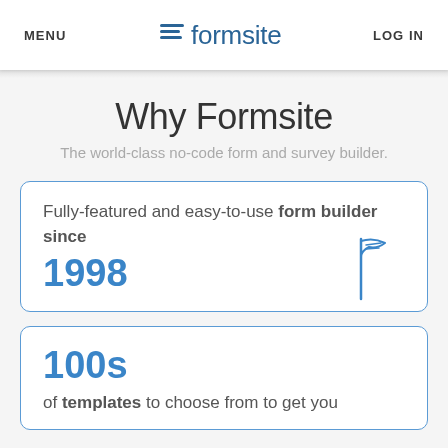MENU | formsite | LOG IN
Why Formsite
The world-class no-code form and survey builder.
Fully-featured and easy-to-use form builder since 1998
100s of templates to choose from to get you